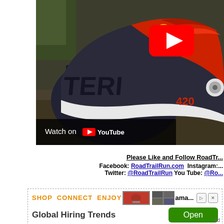[Figure (screenshot): YouTube embedded video thumbnail showing a trail running shoe (black and red, labeled '420') with YouTube play button overlay and 'Watch on YouTube' bar at bottom]
Please Like and Follow RoadTr...
Facebook: RoadTrailRun.com  Instagram:...
Twitter: @RoadTrailRun  You Tube: @Ro...
[Figure (screenshot): Advertisement banner showing 'SHOP CONNECT ENJOY' text in orange, product images, 'Global Hiring Trends' text with a green Open button and Ad label]